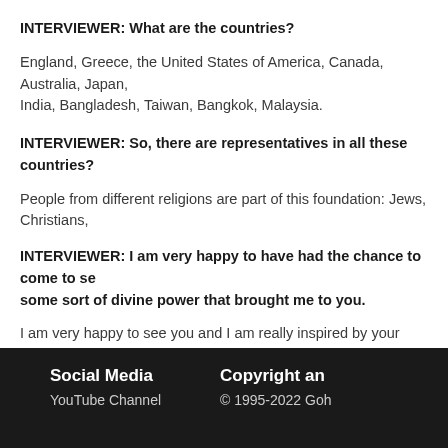INTERVIEWER: What are the countries?
England, Greece, the United States of America, Canada, Australia, Japan, India, Bangladesh, Taiwan, Bangkok, Malaysia.
INTERVIEWER: So, there are representatives in all these countries?
People from different religions are part of this foundation: Jews, Christians,
INTERVIEWER: I am very happy to have had the chance to come to see you. It is some sort of divine power that brought me to you.
I am very happy to see you and I am really inspired by your questions. Tha
« Back
Social Media  YouTube Channel  Copyright and  © 1995-2022 Goh